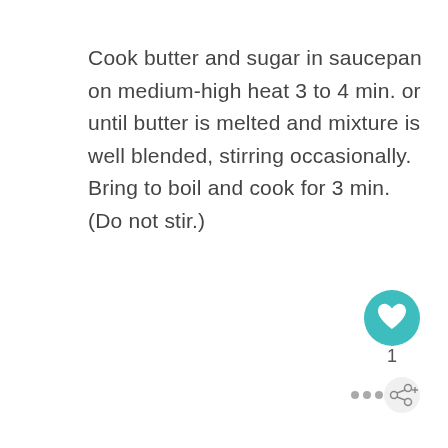Cook butter and sugar in saucepan on medium-high heat 3 to 4 min. or until butter is melted and mixture is well blended, stirring occasionally. Bring to boil and cook for 3 min. (Do not stir.)
[Figure (other): UI elements: a teal circular heart/favorite button, a count of '1', a share button with three dots, and a share icon with plus sign]